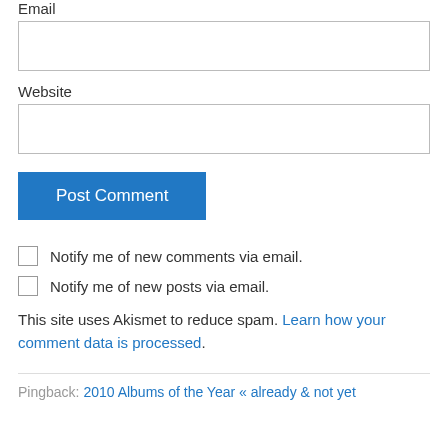Email
Website
Post Comment
Notify me of new comments via email.
Notify me of new posts via email.
This site uses Akismet to reduce spam. Learn how your comment data is processed.
Pingback: 2010 Albums of the Year « already & not yet